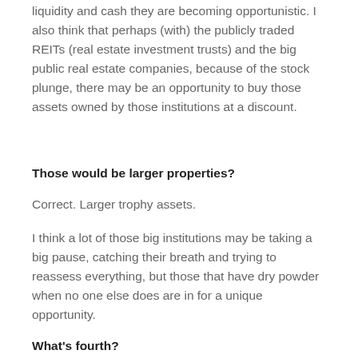liquidity and cash they are becoming opportunistic. I also think that perhaps (with) the publicly traded REITs (real estate investment trusts) and the big public real estate companies, because of the stock plunge, there may be an opportunity to buy those assets owned by those institutions at a discount.
Those would be larger properties?
Correct. Larger trophy assets.
I think a lot of those big institutions may be taking a big pause, catching their breath and trying to reassess everything, but those that have dry powder when no one else does are in for a unique opportunity.
What's fourth?